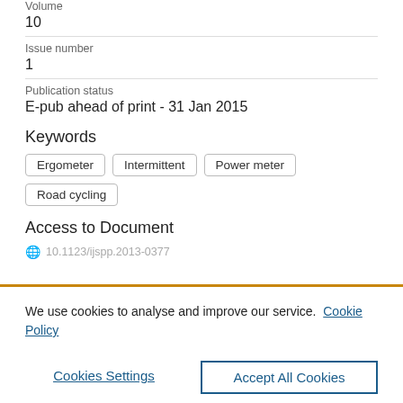Volume
10
Issue number
1
Publication status
E-pub ahead of print - 31 Jan 2015
Keywords
Ergometer
Intermittent
Power meter
Road cycling
Access to Document
We use cookies to analyse and improve our service. Cookie Policy
Cookies Settings
Accept All Cookies